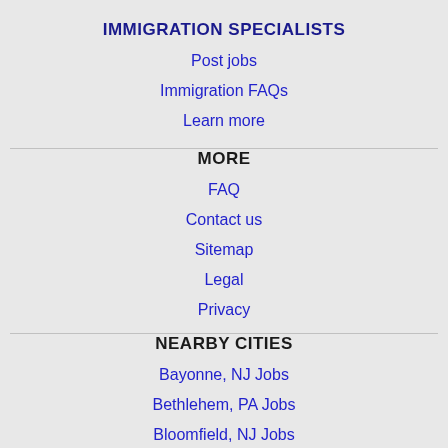IMMIGRATION SPECIALISTS
Post jobs
Immigration FAQs
Learn more
MORE
FAQ
Contact us
Sitemap
Legal
Privacy
NEARBY CITIES
Bayonne, NJ Jobs
Bethlehem, PA Jobs
Bloomfield, NJ Jobs